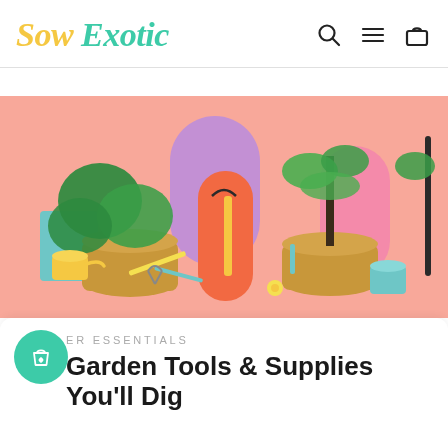Sow Exotic
[Figure (photo): Colorful garden tools and tropical plants in burlap pots arranged against a pink background with purple, pink and orange arch shapes]
ER ESSENTIALS
Garden Tools & Supplies You'll Dig